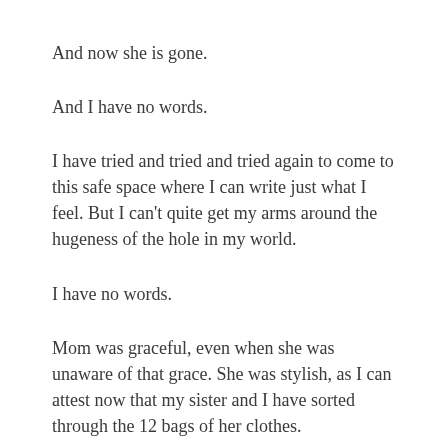And now she is gone.
And I have no words.
I have tried and tried and tried again to come to this safe space where I can write just what I feel. But I can't quite get my arms around the hugeness of the hole in my world.
I have no words.
Mom was graceful, even when she was unaware of that grace. She was stylish, as I can attest now that my sister and I have sorted through the 12 bags of her clothes.
Mom was opinionated. She was strong. She was fragile.